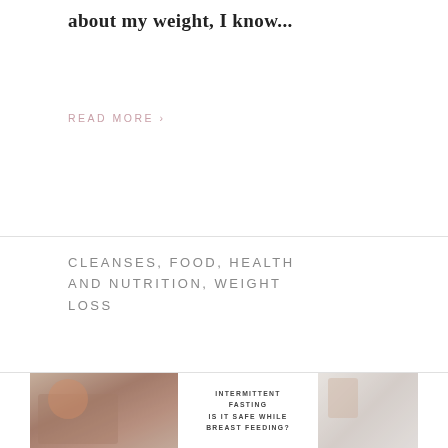about my weight, I know...
READ MORE ›
CLEANSES, FOOD, HEALTH AND NUTRITION, WEIGHT LOSS
[Figure (photo): Collage image card: left side shows a woman in a pink top doing a standing knee raise exercise in a living room; center shows text 'INTERMITTENT FASTING IS IT SAFE WHILE BREAST FEEDING?'; right side shows a woman in a pink top taking a mirror selfie while holding a baby.]